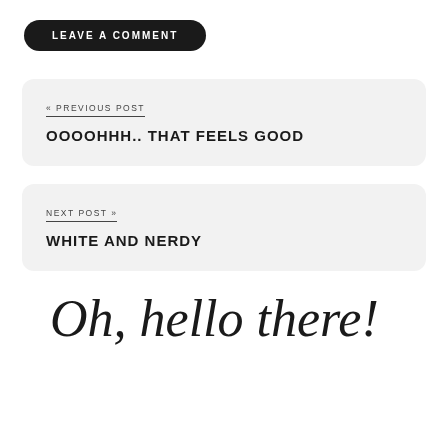LEAVE A COMMENT
« PREVIOUS POST
OOOOHHH.. THAT FEELS GOOD
NEXT POST »
WHITE AND NERDY
Oh, hello there!